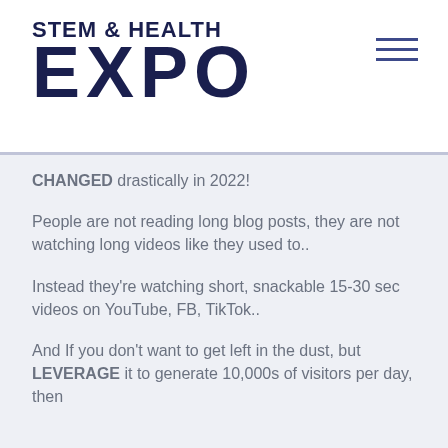STEM & HEALTH EXPO
CHANGED drastically in 2022!
People are not reading long blog posts, they are not watching long videos like they used to..
Instead they're watching short, snackable 15-30 sec videos on YouTube, FB, TikTok..
And If you don't want to get left in the dust, but LEVERAGE it to generate 10,000s of visitors per day, then